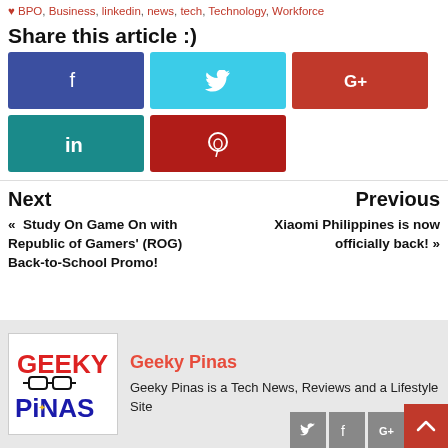BPO, Business, linkedin, news, tech, Technology, Workforce
Share this article :)
[Figure (infographic): Social share buttons: Facebook (blue), Twitter (cyan), Google+ (red), LinkedIn (teal), Pinterest (dark red)]
Next
« Study On Game On with Republic of Gamers' (ROG) Back-to-School Promo!
Previous
Xiaomi Philippines is now officially back! »
[Figure (logo): Geeky Pinas logo with red GEEKY text and blue PINAS text, eyeglasses icon]
Geeky Pinas
Geeky Pinas is a Tech News, Reviews and a Lifestyle Site